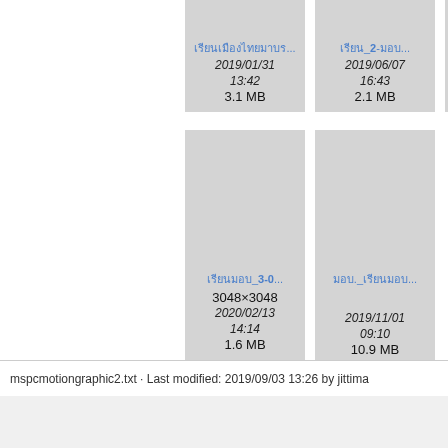[Figure (screenshot): File browser grid view showing image file thumbnails with metadata. Row 1 (partial/cut off at top): three file cards with dates and sizes. Card 1: 2019/01/31 13:42, 3.1 MB. Card 2: 2019/06/07 16:43, 2.1 MB. Card 3 partial. Row 2: Card 1: link text with _3-0..., 3048x3048, 2020/02/13 14:14, 1.6 MB. Card 2: link text with ._..., 2019/11/01 09:10, 10.9 MB.]
mspcmotiongraphic2.txt · Last modified: 2019/09/03 13:26 by jittima